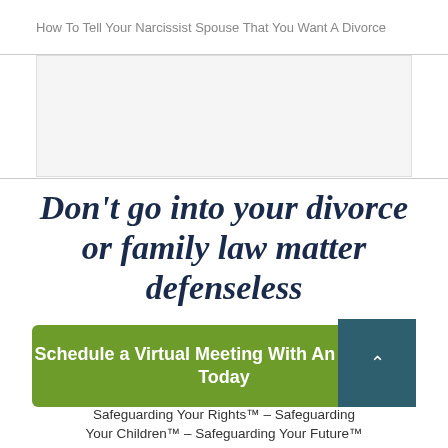How To Tell Your Narcissist Spouse That You Want A Divorce
Don't go into your divorce or family law matter defenseless
Schedule a Virtual Meeting With An Attorney Today
Safeguarding Your Rights™ – Safeguarding Your Children™ – Safeguarding Your Future™